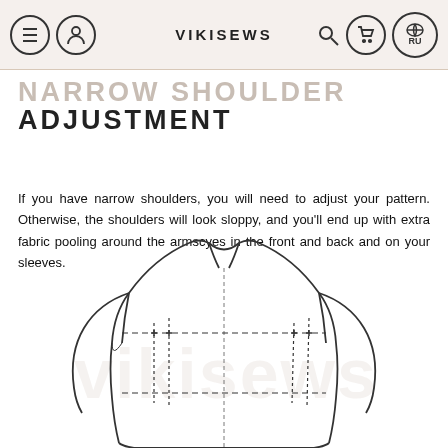VIKISEWS
NARROW SHOULDER ADJUSTMENT
If you have narrow shoulders, you will need to adjust your pattern. Otherwise, the shoulders will look sloppy, and you'll end up with extra fabric pooling around the armscyes in the front and back and on your sleeves.
[Figure (illustration): Line drawing of the back view of a garment (shirt/top) showing shoulder width adjustment lines — dashed horizontal lines across the back with vertical cut lines indicating where to adjust for narrow shoulders. A watermark logo is visible in the background.]